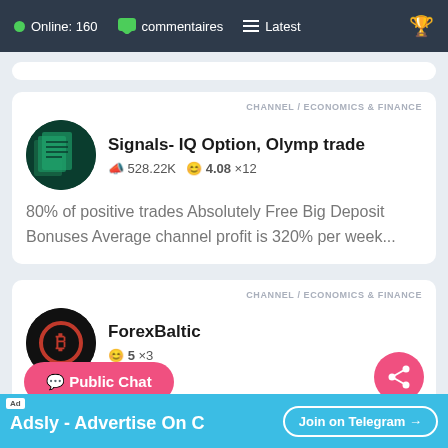Online: 160  commentaires  Latest
CHANNEL / ECONOMICS & FINANCE
Signals- IQ Option, Olymp trade
528.22K  4.08 x12
80% of positive trades Absolutely Free Big Deposit Bonuses Average channel profit is 320% per week...
CHANNEL / ECONOMICS & FINANCE
ForexBaltic
5 x3
Public Chat
Ad  Adsly - Advertise On C  Join on Telegram →